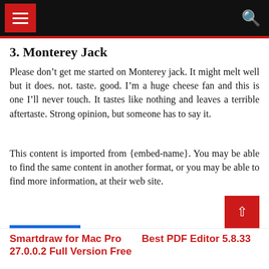Navigation bar with hamburger menu and search icon
3. Monterey Jack
Please don’t get me started on Monterey jack. It might melt well but it does. not. taste. good. I’m a huge cheese fan and this is one I’ll never touch. It tastes like nothing and leaves a terrible aftertaste. Strong opinion, but someone has to say it.
This content is imported from {embed-name}. You may be able to find the same content in another format, or you may be able to find more information, at their web site.
COMMUNICATION
Smartdraw for Mac Pro 27.0.0.2 Full Version Free
Best PDF Editor 5.8.33 ...